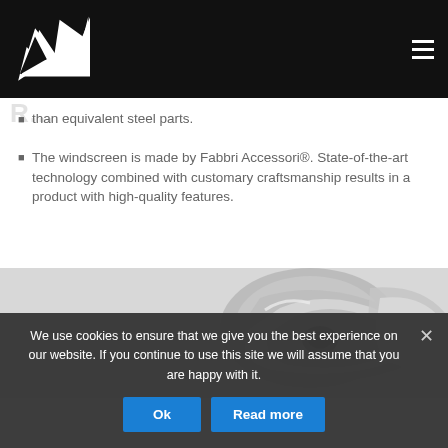Fabbri Accessori logo and navigation
than equivalent steel parts.
The windscreen is made by Fabbri Accessori®. State-of-the-art technology combined with customary craftsmanship results in a product with high-quality features.
[Figure (photo): Black and white photo of motorcycle windscreen/accessory parts close-up]
We use cookies to ensure that we give you the best experience on our website. If you continue to use this site we will assume that you are happy with it.